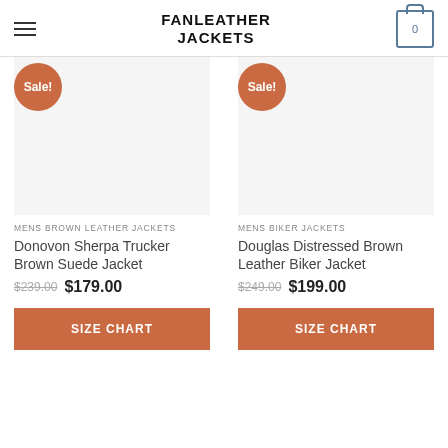FANLEATHER JACKETS
[Figure (screenshot): Product card: Donovon Sherpa Trucker Brown Suede Jacket with Sale badge, blank product image area, category MENS BROWN LEATHER JACKETS, price $239.00 sale $179.00, SIZE CHART button]
[Figure (screenshot): Product card: Douglas Distressed Brown Leather Biker Jacket with Sale badge, blank product image area, category MENS BIKER JACKETS, price $249.00 sale $199.00, SIZE CHART button]